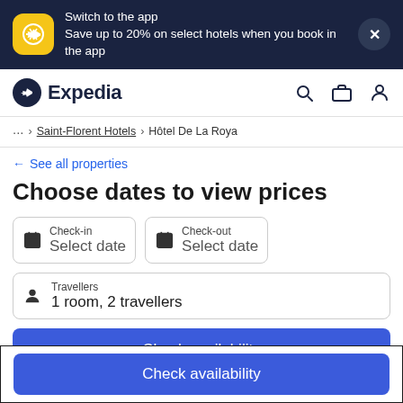[Figure (screenshot): Expedia app promotional banner with yellow icon, text 'Switch to the app / Save up to 20% on select hotels when you book in the app', and close button]
Expedia
... > Saint-Florent Hotels > Hôtel De La Roya
← See all properties
Choose dates to view prices
Check-in Select date
Check-out Select date
Travellers 1 room, 2 travellers
Check availability
Check availability